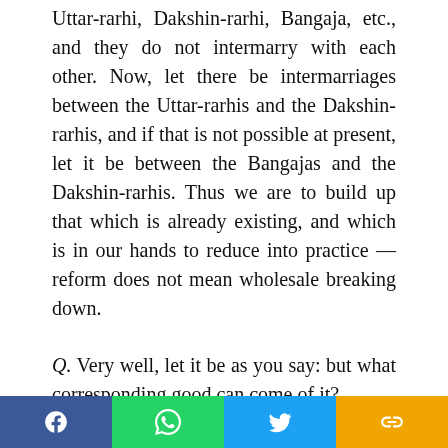Uttar-rarhi, Dakshin-rarhi, Bangaja, etc., and they do not intermarry with each other. Now, let there be intermarriages between the Uttar-rarhis and the Dakshin-rarhis, and if that is not possible at present, let it be between the Bangajas and the Dakshin-rarhis. Thus we are to build up that which is already existing, and which is in our hands to reduce into practice — reform does not mean wholesale breaking down.
Q. Very well, let it be as you say: but what corresponding good can come of it?
Swamiji: Don't you see how in our society, marriage, being restricted for several hundreds